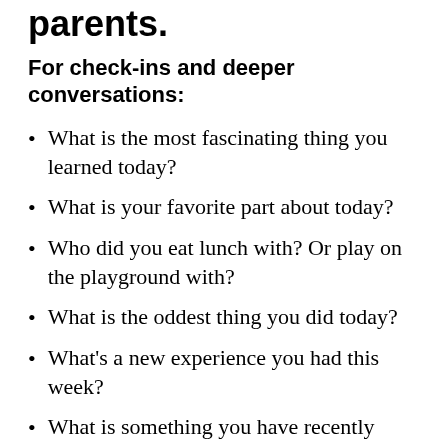parents.
For check-ins and deeper conversations:
What is the most fascinating thing you learned today?
What is your favorite part about today?
Who did you eat lunch with? Or play on the playground with?
What is the oddest thing you did today?
What's a new experience you had this week?
What is something you have recently done that you are proud of?